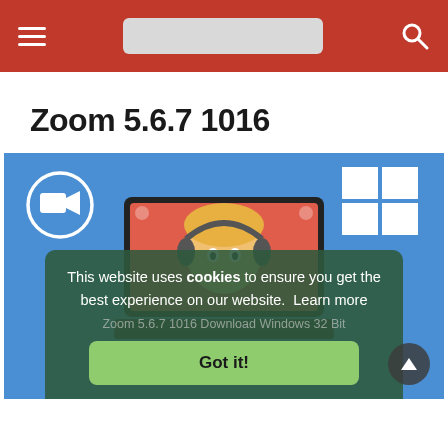Navigation bar with hamburger menu, search bar, and search icon
Zoom 5.6.7 1016
[Figure (screenshot): Blue background with Zoom camera circle logo on left, Windows logo on upper right, and a laptop showing a video call interface with a cartoon character. A cookie consent overlay appears at the bottom with text 'This website uses cookies to ensure you get the best experience on our website. Learn more', faded text 'Zoom 5.6.7 1016 Download Windows 32 Bit', a green 'Got it!' button, and a scroll-to-top arrow button at bottom right.]